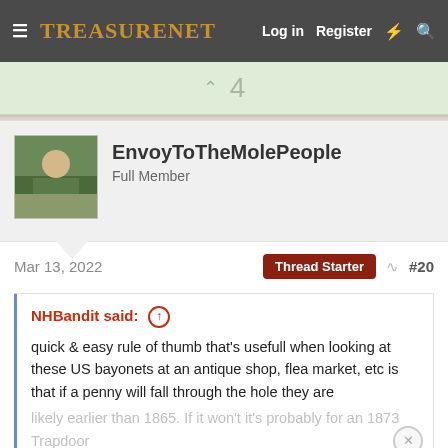TreasureNet  Log in  Register
4
EnvoyToTheMolePeople
Full Member
Mar 13, 2022  Thread Starter  #20
NHBandit said: ↑

quick & easy rule of thumb that's usefull when looking at these US bayonets at an antique shop, flea market, etc is that if a penny will fall through the hole they are likely earlier than 1865. If it won't it's probably for an 1873 Trapdoor